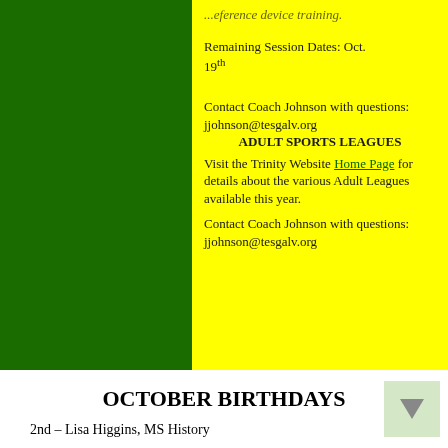...reference device training.
Remaining Session Dates: Oct. 19th
Contact Coach Johnson with questions: jjohnson@tesgalv.org
ADULT SPORTS LEAGUES
Visit the Trinity Website Home Page for details about the various Adult Leagues available this year.
Contact Coach Johnson with questions: jjohnson@tesgalv.org
OCTOBER BIRTHDAYS
2nd – Lisa Higgins, MS History